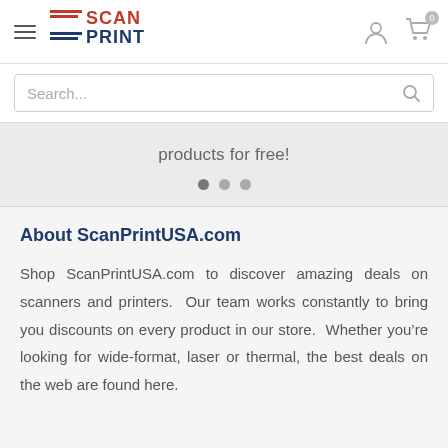[Figure (logo): ScanPrint USA logo with red and blue horizontal lines and text SCAN PRINT]
Search...
products for free!
About ScanPrintUSA.com
Shop ScanPrintUSA.com to discover amazing deals on scanners and printers.  Our team works constantly to bring you discounts on every product in our store.  Whether you’re looking for wide-format, laser or thermal, the best deals on the web are found here.